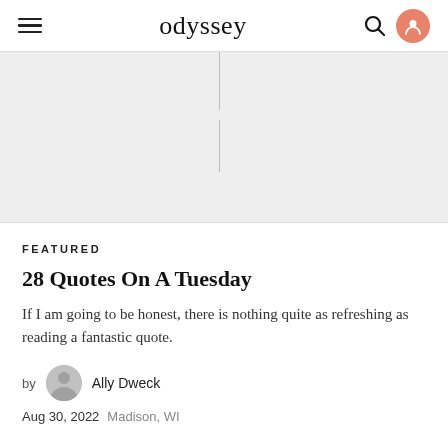odyssey
[Figure (other): Light gray hero/banner area with faint vertical line segments in the center]
FEATURED
28 Quotes On A Tuesday
If I am going to be honest, there is nothing quite as refreshing as reading a fantastic quote.
by Ally Dweck
Aug 30, 2022 Madison, WI